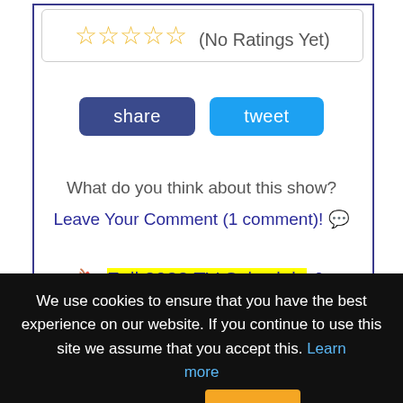[Figure (other): Five empty star rating icons followed by text '(No Ratings Yet)']
[Figure (other): Two buttons: 'share' (dark blue) and 'tweet' (cyan/blue)]
What do you think about this show?
Leave Your Comment (1 comment)! 💬
🔖 Fall 2022 TV Schedule & Streaming Shows Release Dates 🔖
When does your favorite show come back on? Check it
We use cookies to ensure that you have the best experience on our website. If you continue to use this site we assume that you accept this. Learn more
[Figure (other): Orange 'OK' button for cookie consent]